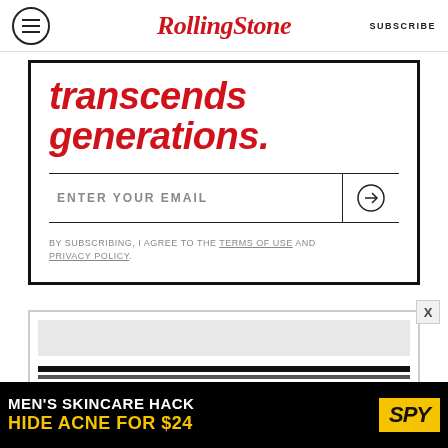RollingStone | SUBSCRIBE
transcends generations.
ENTER YOUR EMAIL
BY SUBSCRIBING, I AGREE TO THE TERMS OF USE AND PRIVACY POLICY.
[Figure (other): Advertisement box with gray background bar and black bars]
[Figure (other): Advertisement banner: MEN'S SKINCARE HACK HIDE ACNE FOR $24 SPY]